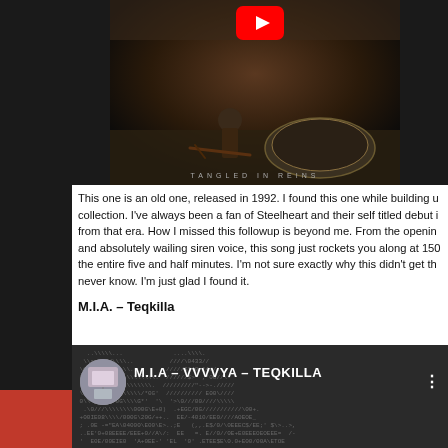[Figure (screenshot): YouTube video thumbnail showing album cover for 'Tangled in Reins' - a dark image with a figure and large coin/medallion on ground, with YouTube logo overlay at top center]
This one is an old one, released in 1992. I found this one while building u collection. I've always been a fan of Steelheart and their self titled debut i from that era. How I missed this followup is beyond me. From the openin and absolutely wailing siren voice, this song just rockets you along at 150 the entire five and half minutes. I'm not sure exactly why this didn't get th never know. I'm just glad I found it.
M.I.A. – Teqkilla
[Figure (screenshot): YouTube video thumbnail showing M.I.A. - MAYA - TEQKILLA video with ASCII art background, circular avatar thumbnail on left, title text in white, and three-dot menu on right]